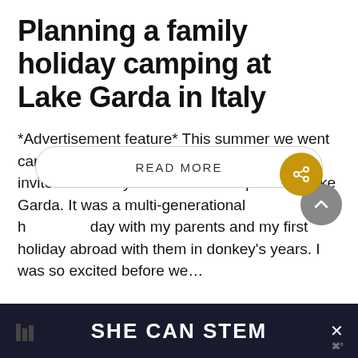Planning a family holiday camping at Lake Garda in Italy
*Advertisement feature* This summer we went camping in Italy with Al Fresco Holidays who invited us to stay at Eden – a campsite on Lake Garda. It was a multi-generational holiday with my parents and my first holiday abroad with them in donkey's years. I was so excited before we…
READ MORE
SHE CAN STEM